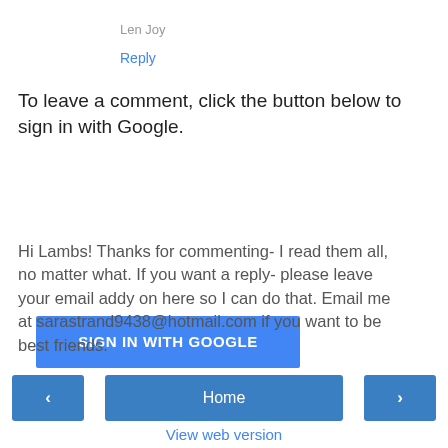Len Joy
Reply
To leave a comment, click the button below to sign in with Google.
[Figure (other): SIGN IN WITH GOOGLE button (blue rectangular button with white text)]
Hi Lambs! Thanks for commenting- I read them all, no matter what. If you want a reply- please leave your email addy on here so I can do that. Email me at sarastrand9438@hotmail.com if you want to be best friends.
[Figure (other): Navigation bar with left arrow button, Home button, and right arrow button]
View web version
Powered by Blogger.